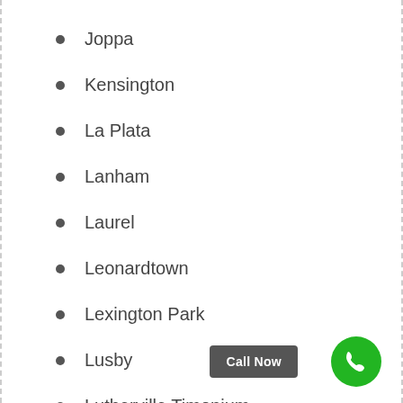Joppa
Kensington
La Plata
Lanham
Laurel
Leonardtown
Lexington Park
Lusby
Lutherville Timonium
Manchester